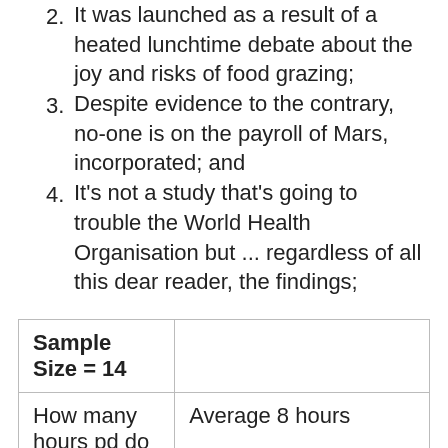2. It was launched as a result of a heated lunchtime debate about the joy and risks of food grazing;
3. Despite evidence to the contrary, no-one is on the payroll of Mars, incorporated; and
4. It's not a study that's going to trouble the World Health Organisation but ... regardless of all this dear reader, the findings;
| Sample Size = 14 |  |
| --- | --- |
| How many hours pd do you work at your desk? | Average 8 hours |